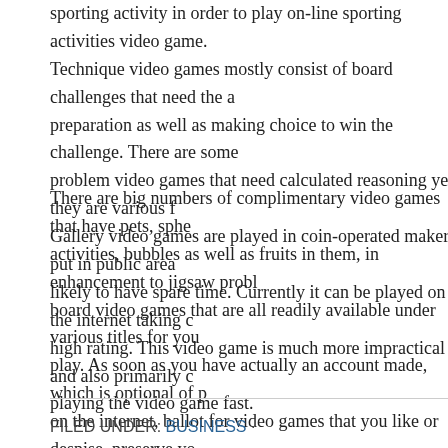sporting activity in order to play on-line sporting activities video game. Technique video games mostly consist of board challenges that need the a preparation as well as making choice to win the challenge. There are some problem video games that need calculated reasoning yet they are various f Gallery video games are played in coin-operated makers put in public area likely to have spare time. Currently it can be played on the internet taking c high rating. This video game is much more impractical and also primarily c playing the video game fast.
There are big numbers of complimentary video games that have pets, sphe activities, bubbles as well as fruits in them, in enhancement to jigsaw prob board video games that are all readily available under various titles for you play. As soon as you have actually an account made, which is optional of p on the internet, ballot for video games that you like or despise, preserve yo exactly how lots of hrs you have actually invested playing a video game an ratings. As for teens, the video games that delight in excellent appeal amor activities video games, auto racing and also journey ones. Simulation video service, city structure, area trip simulator, battle video games and also so c simulation, activity and also challenge video games that need critical reaso various from method video games.
FILED UNDER: BUSINESS ·